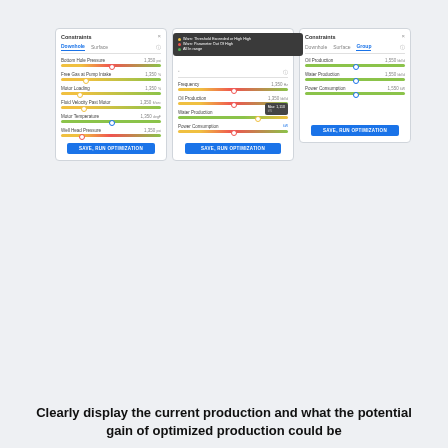[Figure (screenshot): Three UI panels showing Constraints dialogs with Downhole/Surface/Group tabs, sliders for various parameters (Bottom Hole Pressure, Free Gas at Pump Intake, Motor Loading, Fluid Velocity Past Motor, Motor Temperature, Well Head Pressure, Frequency, Oil Production, Water Production, Power Consumption), and SAVE, RUN OPTIMIZATION buttons. Middle panel has a tooltip legend showing warning levels. A sub-tooltip shows Max: 1,110.]
Clearly display the current production and what the potential gain of optimized production could be